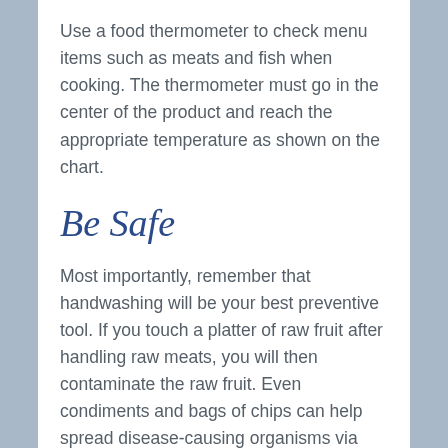Use a food thermometer to check menu items such as meats and fish when cooking. The thermometer must go in the center of the product and reach the appropriate temperature as shown on the chart.
Be Safe
Most importantly, remember that handwashing will be your best preventive tool. If you touch a platter of raw fruit after handling raw meats, you will then contaminate the raw fruit. Even condiments and bags of chips can help spread disease-causing organisms via cross-contamination. Children touching playground equipment in parks and…